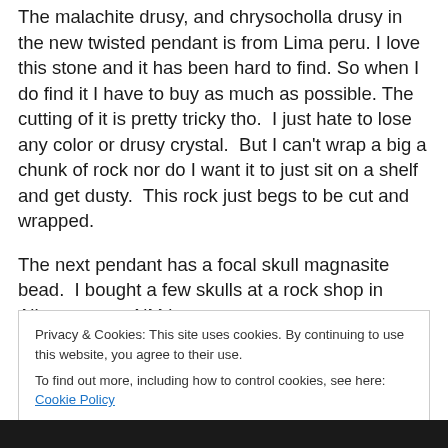The malachite drusy, and chrysocholla drusy in the new twisted pendant is from Lima peru. I love this stone and it has been hard to find. So when I do find it I have to buy as much as possible. The cutting of it is pretty tricky tho.  I just hate to lose any color or drusy crystal.  But I can't wrap a big a chunk of rock nor do I want it to just sit on a shelf and get dusty.  This rock just begs to be cut and wrapped.
The next pendant has a focal skull magnasite bead.  I bought a few skulls at a rock shop in Alburquerque NM last year...
Privacy & Cookies: This site uses cookies. By continuing to use this website, you agree to their use.
To find out more, including how to control cookies, see here: Cookie Policy
[Close and accept]
[Figure (photo): Dark/black image strip at bottom of page]